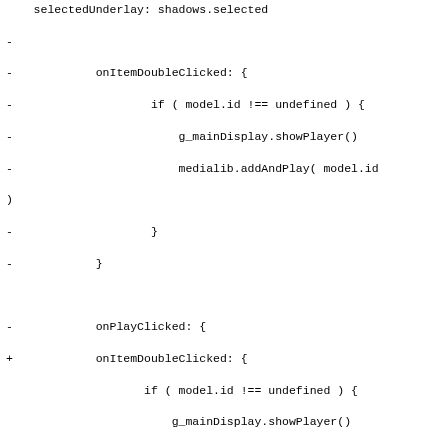Code diff showing changes to VideoGridItem.qml and related QML files, including removal and addition of onItemDoubleClicked, onPlayClicked handlers, and property declarations.